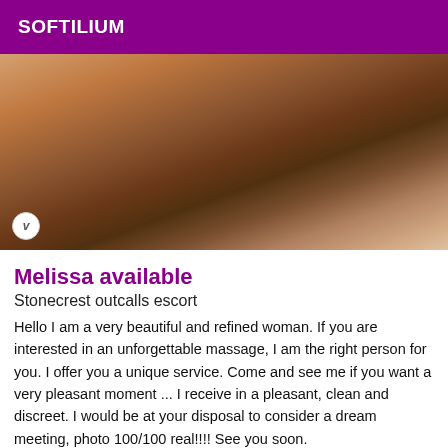SOFTILIUM
[Figure (photo): A woman posing on a red/orange surface, adult content photo]
Melissa available
Stonecrest outcalls escort
Hello I am a very beautiful and refined woman. If you are interested in an unforgettable massage, I am the right person for you. I offer you a unique service. Come and see me if you want a very pleasant moment ... I receive in a pleasant, clean and discreet. I would be at your disposal to consider a dream meeting, photo 100/100 real!!!! See you soon.